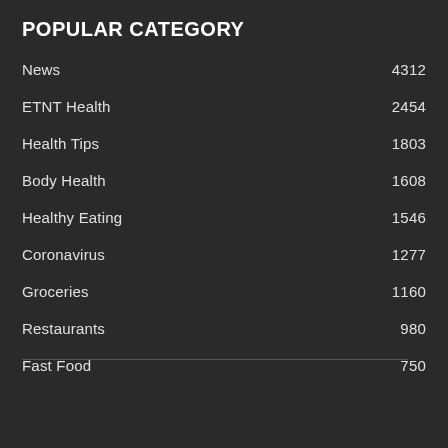POPULAR CATEGORY
News  4312
ETNT Health  2454
Health Tips  1803
Body Health  1608
Healthy Eating  1546
Coronavirus  1277
Groceries  1160
Restaurants  980
Fast Food  750